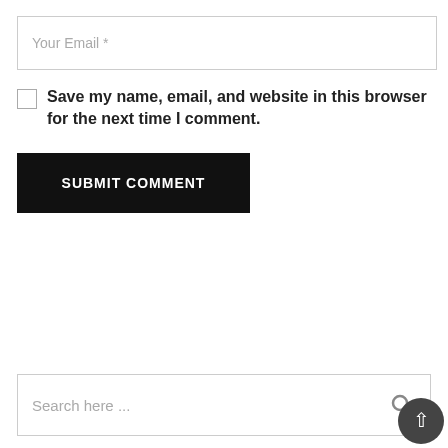Your Email *
Save my name, email, and website in this browser for the next time I comment.
SUBMIT COMMENT
Search here ...